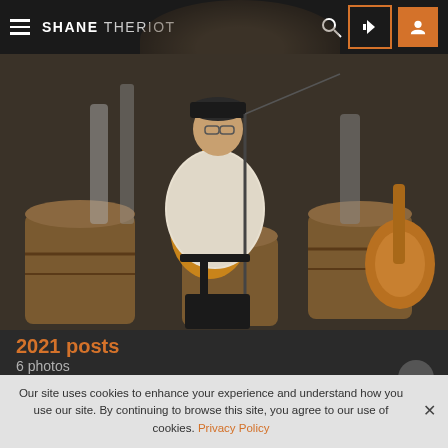SHANE THERIOT
[Figure (photo): Musician playing acoustic guitar on stage near wine barrels, with a microphone stand and music stand. Wearing a floral shirt and cap. Another guitar visible in background right.]
2021 posts
6 photos
1 Comment
Email
Sign Up
Become a site community member
Our site uses cookies to enhance your experience and understand how you use our site. By continuing to browse this site, you agree to our use of cookies. Privacy Policy